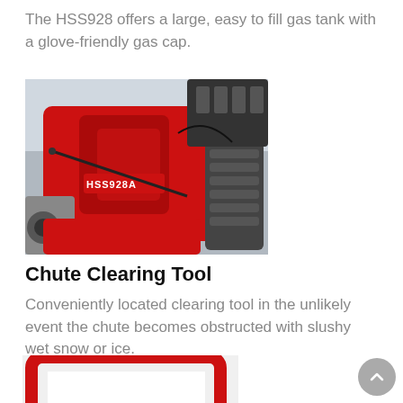The HSS928 offers a large, easy to fill gas tank with a glove-friendly gas cap.
[Figure (photo): Close-up photo of a red Honda HSS928A snowblower showing the machine body with HSS928A label, chute clearing tool rod, and track system visible on snowy background.]
Chute Clearing Tool
Conveniently located clearing tool in the unlikely event the chute becomes obstructed with slushy wet snow or ice.
[Figure (photo): Partial view of a red square/rectangular handle or frame component of the snowblower, shown at the bottom of the page.]